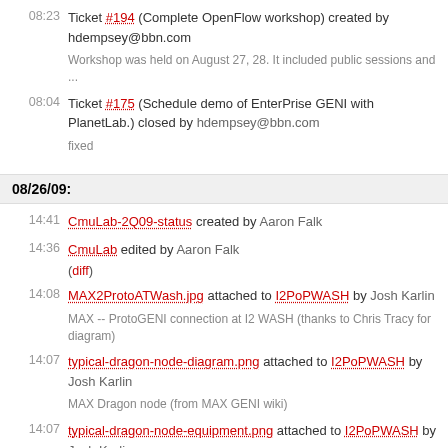08:23 Ticket #194 (Complete OpenFlow workshop) created by hdempsey@bbn.com
Workshop was held on August 27, 28. It included public sessions and ...
08:04 Ticket #175 (Schedule demo of EnterPrise GENI with PlanetLab.) closed by hdempsey@bbn.com
fixed
08/26/09:
14:41 CmuLab-2Q09-status created by Aaron Falk
14:36 CmuLab edited by Aaron Falk
(diff)
14:08 MAX2ProtoATWash.jpg attached to I2PoPWASH by Josh Karlin
MAX -- ProtoGENI connection at I2 WASH (thanks to Chris Tracy for diagram)
14:07 typical-dragon-node-diagram.png attached to I2PoPWASH by Josh Karlin
MAX Dragon node (from MAX GENI wiki)
14:07 typical-dragon-node-equipment.png attached to I2PoPWASH by Josh Karlin
MAX Dragon node (from MAX GENI wiki)